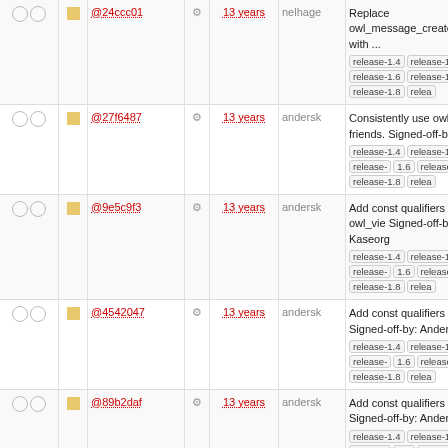| checks | status | hash | gear | age | author | message |
| --- | --- | --- | --- | --- | --- | --- |
| ○ ○ | ■ | @24ccc01 | ⚙ | 13 years | nelhage | Replace owl_message_create_from_zw with ... release-1.4 release-1.5 release-1.6 release-1.7 release-1.8 relea |
| ○ ○ | ■ | @27f6487 | ⚙ | 13 years | andersk | Consistently use owl_malloc a friends. Signed-off-by: Anders release-1.4 release-1.5 release- 1.6 release-1.7 release-1.8 relea |
| ○ ○ | ■ | @9e5c9f3 | ⚙ | 13 years | andersk | Add const qualifiers for owl_vie Signed-off-by: Anders Kaseorg release-1.4 release-1.5 release- 1.6 release-1.7 release-1.8 relea |
| ○ ○ | ■ | @4542047 | ⚙ | 13 years | andersk | Add const qualifiers for owl_filt Signed-off-by: Anders Kaseorg release-1.4 release-1.5 release- 1.6 release-1.7 release-1.8 relea |
| ○ ○ | ■ | @89b2daf | ⚙ | 13 years | andersk | Add const qualifiers for owl_re Signed-off-by: Anders Kaseorg release-1.4 release-1.5 release- 1.6 release-1.7 release-1.8 relea |
| ○ ○ | ■ | @1fdab04 | ⚙ | 13 years | andersk | Add const qualifiers for owl_sty Signed-off-by: Anders Kaseorg release-1.4 release-1.5 release- 1.6 release-1.7 release-1.8 relea |
| ○ ○ | ■ | @c08c70a | ⚙ | 13 years | andersk | Add const qualifiers for owl_me Signed-off-by: Anders Kaseorg release-1.4 release-1.5 release- 1.6 release-1.7 release-1.8 relea |
| ○ ○ | ■ | @1077891a | ⚙ | 13 years | andersk | Add const qualifiers for ZNotice Signed-off-by: Anders Kaseorg release-1.4 release-1.5 release- 1.6 release-1.7 release-1.8 relea |
| ○ ○ |  |  |  |  |  | Add const qualifiers for char * |